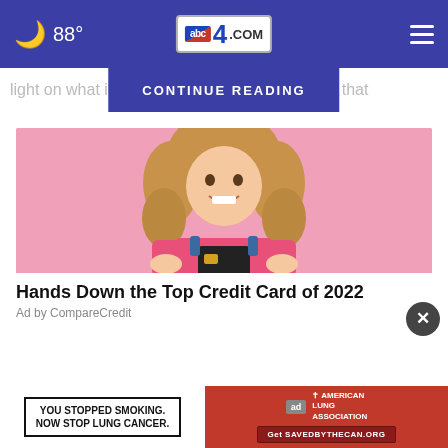🌙 88° | abc4.COM | ☰
CONTINUE READING
light on what i... nd what that
[Figure (photo): Young woman with curly hair smiling and holding a dark credit card against a pink background]
Hands Down the Top Credit Card of 2022
Ad by CompareCredit
[Figure (other): Red banner advertisement: YOU STOPPED SMOKING. NOW STOP LUNG CANCER. with American Lung Association logo and Get SAVEDBYTHECAN.ORG button]